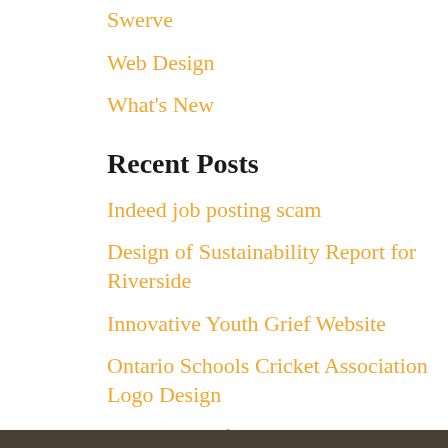Swerve
Web Design
What's New
Recent Posts
Indeed job posting scam
Design of Sustainability Report for Riverside
Innovative Youth Grief Website
Ontario Schools Cricket Association Logo Design
Logo design for Anvil Automation